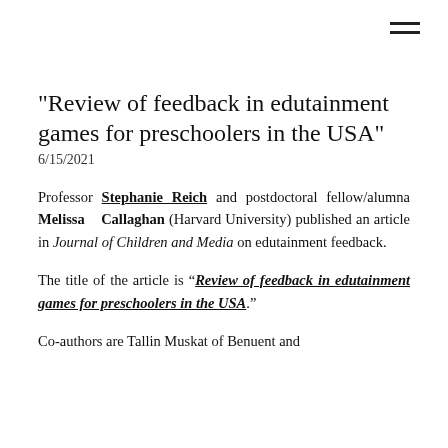"Review of feedback in edutainment games for preschoolers in the USA"
6/15/2021
Professor Stephanie Reich and postdoctoral fellow/alumna Melissa Callaghan (Harvard University) published an article in Journal of Children and Media on edutainment feedback.
The title of the article is “Review of feedback in edutainment games for preschoolers in the USA.”
Co-authors are Tallin Muskat of Benuent and